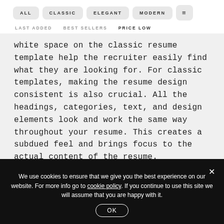ALL  CLASSIC  ELEGANT  MODERN  ≡
LAST ADDED  BEST SELLERS  PRICE LOW
white space on the classic resume template help the recruiter easily find what they are looking for. For classic templates, making the resume design consistent is also crucial. All the headings, categories, text, and design elements look and work the same way throughout your resume. This creates a subdued feel and brings focus to the actual content of the resume.
We use cookies to ensure that we give you the best experience on our website. For more info go to cookie policy. If you continue to use this site we will assume that you are happy with it. OK